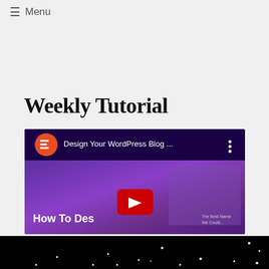☰ Menu
Weekly Tutorial
[Figure (screenshot): YouTube video thumbnail for 'Design Your WordPress Blog...' showing Elementor logo, purple gradient background with text 'How To Des...' and a YouTube play button overlay]
[Figure (photo): Black background with scattered white dots resembling stars]